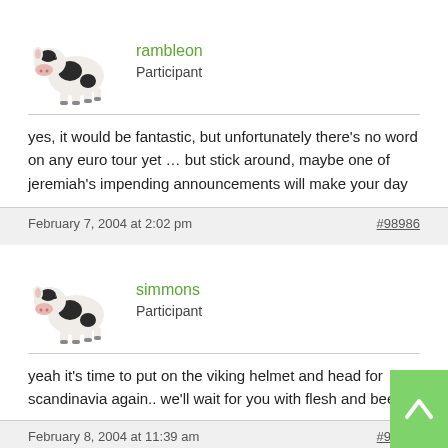[Figure (illustration): Stuffed toy cow avatar for user rambleon]
rambleon
Participant
yes, it would be fantastic, but unfortunately there's no word on any euro tour yet … but stick around, maybe one of jeremiah's impending announcements will make your day
February 7, 2004 at 2:02 pm
#98986
[Figure (illustration): Stuffed toy cow avatar for user simmons]
simmons
Participant
yeah it's time to put on the viking helmet and head for scandinavia again.. we'll wait for you with flesh and beer.
February 8, 2004 at 11:39 am
#98987